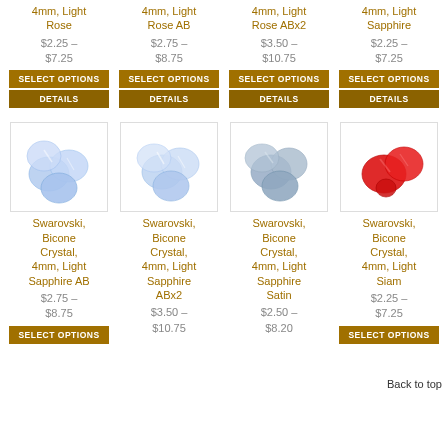Swarovski, Bicone Crystal, 4mm, Light Rose
$2.25 – $7.25
SELECT OPTIONS | DETAILS
Swarovski, Bicone Crystal, 4mm, Light Rose AB
$2.75 – $8.75
SELECT OPTIONS | DETAILS
Swarovski, Bicone Crystal, 4mm, Light Rose ABx2
$3.50 – $10.75
SELECT OPTIONS | DETAILS
Swarovski, Bicone Crystal, 4mm, Light Sapphire
$2.25 – $7.25
SELECT OPTIONS | DETAILS
[Figure (photo): Light Sapphire AB bicone crystal beads]
[Figure (photo): Light Sapphire ABx2 bicone crystal beads]
[Figure (photo): Light Sapphire Satin bicone crystal beads]
[Figure (photo): Light Siam bicone crystal beads (red)]
Swarovski, Bicone Crystal, 4mm, Light Sapphire AB
$2.75 – $8.75
SELECT OPTIONS
Swarovski, Bicone Crystal, 4mm, Light Sapphire ABx2
$3.50 – $10.75
Swarovski, Bicone Crystal, 4mm, Light Sapphire Satin
$2.50 – $8.20
Swarovski, Bicone Crystal, 4mm, Light Siam
$2.25 – $7.25
SELECT OPTIONS
Back to top